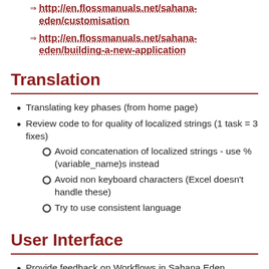http://en.flossmanuals.net/sahana-eden/customisation
http://en.flossmanuals.net/sahana-eden/building-a-new-application
Translation
Translating key phases (from home page)
Review code to for quality of localized strings (1 task = 3 fixes)
Avoid concatenation of localized strings - use %(variable_name)s instead
Avoid non keyboard characters (Excel doesn't handle these)
Try to use consistent language
User Interface
Provide feedback on Workflows in Sahana Eden